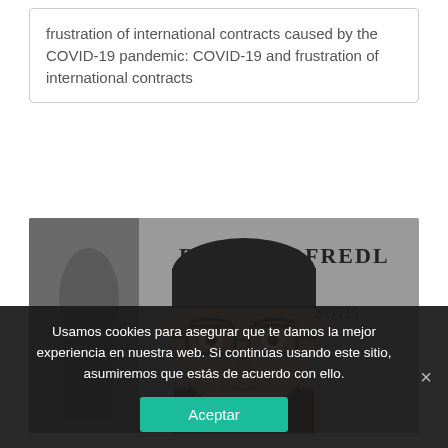frustration of international contracts caused by the COVID-19 pandemic: COVID-19 and frustration of international contracts
[Figure (photo): Portrait photo of a man with glasses in front of a background showing old text with 'D. GOTHOFREDL' and other Latin text, resembling an old legal book cover]
Usamos cookies para asegurar que te damos la mejor experiencia en nuestra web. Si continúas usando este sitio, asumiremos que estás de acuerdo con ello.